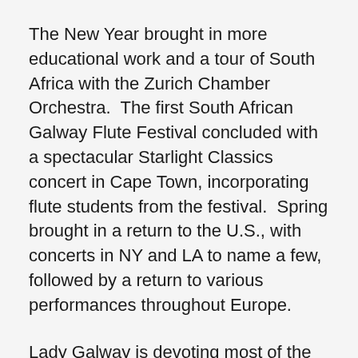The New Year brought in more educational work and a tour of South Africa with the Zurich Chamber Orchestra.  The first South African Galway Flute Festival concluded with a spectacular Starlight Classics concert in Cape Town, incorporating flute students from the festival.  Spring brought in a return to the U.S., with concerts in NY and LA to name a few, followed by a return to various performances throughout Europe.
Lady Galway is devoting most of the summer to her educational outreach programmes, including First Flute, an online Flute education community.
Launched in December 2013, is the groundbreaking “First Flute,” which Sir James and Lady Galway have created together.  This online Educational Network is geared for students,